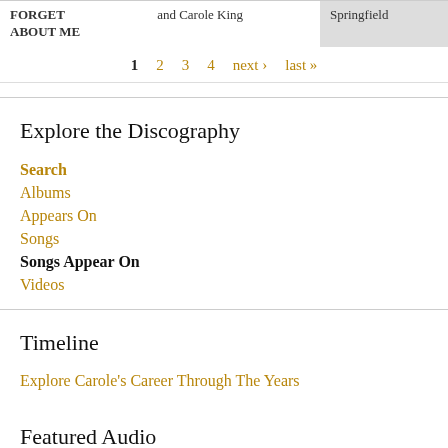| Song | Artist | Featured |
| --- | --- | --- |
| FORGET ABOUT ME | and Carole King | Springfield |
1  2  3  4  next ›  last »
Explore the Discography
Search
Albums
Appears On
Songs
Songs Appear On
Videos
Timeline
Explore Carole's Career Through The Years
Featured Audio